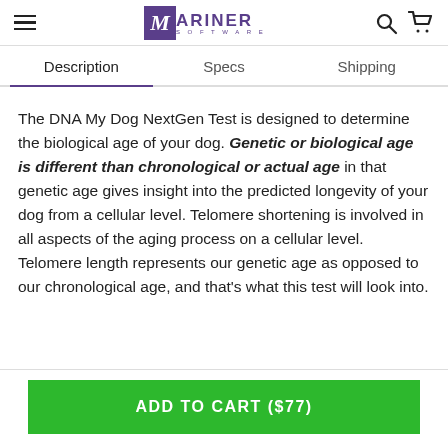Mariner Software
Description | Specs | Shipping
The DNA My Dog NextGen Test is designed to determine the biological age of your dog. Genetic or biological age is different than chronological or actual age in that genetic age gives insight into the predicted longevity of your dog from a cellular level. Telomere shortening is involved in all aspects of the aging process on a cellular level. Telomere length represents our genetic age as opposed to our chronological age, and that's what this test will look into.
ADD TO CART ($77)